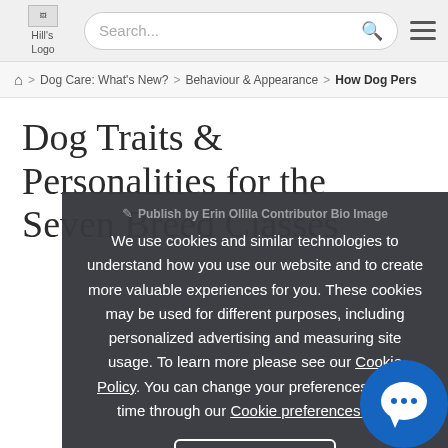Hill's Logo | Search... | navigation menu
Home > Dog Care: What's New? > Behaviour & Appearance > How Dog Pers...
Dog Traits & Personalities for the Seven Breed Classes
Publish by Erin Ollila Contributor Bio Image
We use cookies and similar technologies to understand how you use our website and to create more valuable experiences for you. These cookies may be used for different purposes, including personalized advertising and measuring site usage. To learn more please see our Cookie Policy. You can change your preferences at any time through our Cookie preferences tool.
Accept